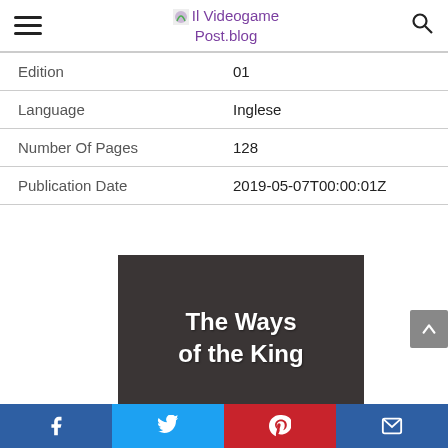Il Videogame Post.blog
| Edition | 01 |
| Language | Inglese |
| Number Of Pages | 128 |
| Publication Date | 2019-05-07T00:00:01Z |
[Figure (photo): Book cover image with dark textured background showing the text 'The Ways of the King' in white bold font]
Social share bar: Facebook, Twitter, Pinterest, Email